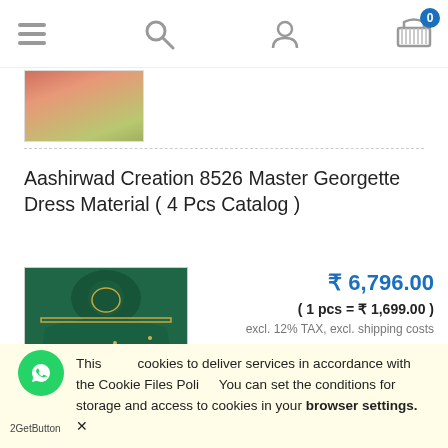Navigation bar with hamburger menu, search, user, and cart (0) icons
[Figure (photo): Thumbnail product image showing a pink/red dress material on a patterned floor]
Aashirwad Creation 8526 Master Georgette Dress Material ( 4 Pcs Catalog )
[Figure (photo): Main product image showing dark green georgette dress material with gold embroidery spread on a surface with small flowers]
₹ 6,796.00
( 1 pcs = ₹ 1,699.00 )
excl. 12% TAX, excl. shipping costs
order now
This uses cookies to deliver services in accordance with the Cookie Files Policy. You can set the conditions for storage and access to cookies in your browser settings. ✕